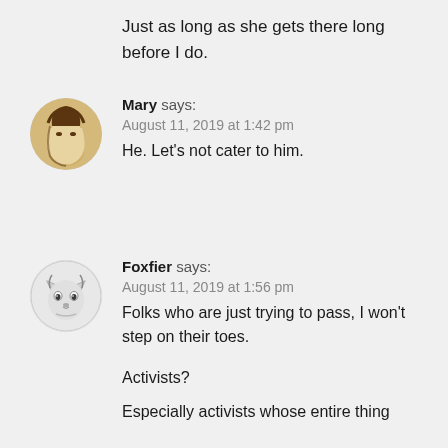Just as long as she gets there long before I do.
Mary says:
August 11, 2019 at 1:42 pm
He. Let’s not cater to him.
Foxfier says:
August 11, 2019 at 1:56 pm
Folks who are just trying to pass, I won’t step on their toes.

Activists?

Especially activists whose entire thing is finding to…